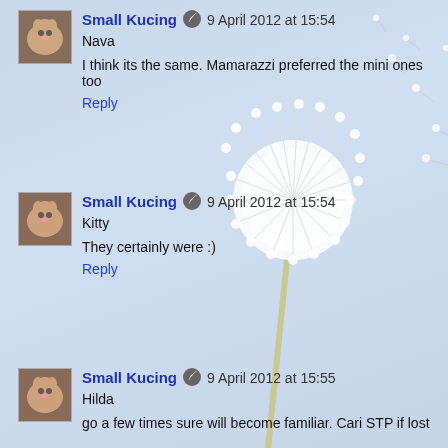[Figure (illustration): Dandelion with seeds blowing away on light blue background, decorative background element]
Small Kucing 🔘 9 April 2012 at 15:54
Nava

I think its the same. Mamarazzi preferred the mini ones too
Reply
Small Kucing 🔘 9 April 2012 at 15:54
Kitty

They certainly were :)
Reply
Small Kucing 🔘 9 April 2012 at 15:55
Hilda

go a few times sure will become familiar. Cari STP if lost